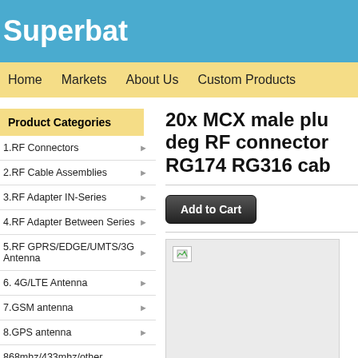Superbat
Home   Markets   About Us   Custom Products
Product Categories
1.RF Connectors
2.RF Cable Assemblies
3.RF Adapter IN-Series
4.RF Adapter Between Series
5.RF GPRS/EDGE/UMTS/3G Antenna
6. 4G/LTE Antenna
7.GSM antenna
8.GPS antenna
868mhz/433mhz/other antennas
9.Wifi Antenna
20x MCX male plug 90 deg RF connector for RG174 RG316 cable
[Figure (photo): Product image placeholder (broken image icon) on gray background]